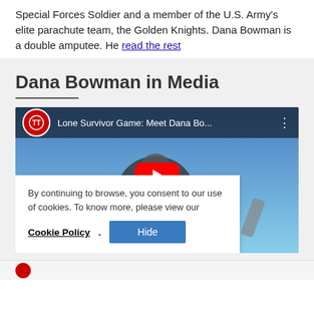Special Forces Soldier and a member of the U.S. Army's elite parachute team, the Golden Knights. Dana Bowman is a double amputee. He read the rest
Dana Bowman in Media
[Figure (screenshot): YouTube video thumbnail showing Dana Bowman skydiving with title 'Lone Survivor Game: Meet Dana Bo...' and a cookie consent overlay at the bottom left]
By continuing to browse, you consent to our use of cookies. To know more, please view our Cookie Policy. [Hide button]